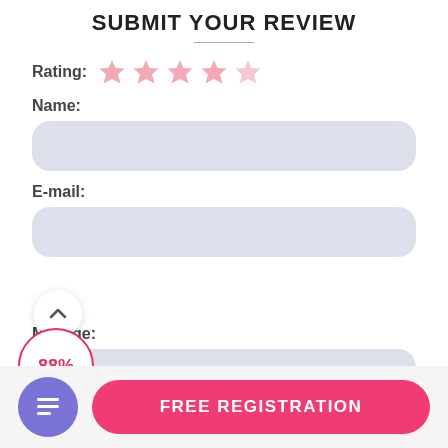SUBMIT YOUR REVIEW
Rating: ★★★★★
Name:
E-mail:
Message:
[Figure (infographic): Scroll up button (chevron up) with 88% progress badge in a circle]
FREE REGISTRATION